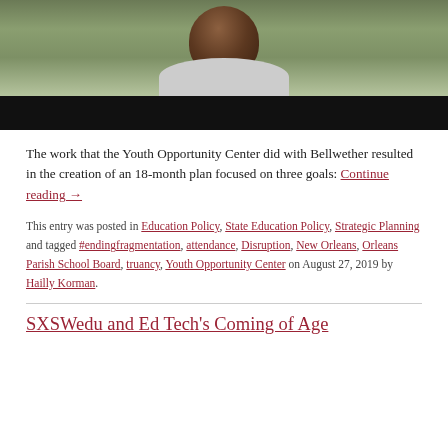[Figure (photo): Photo of a young person wearing a grey shirt, outdoors with blurred greenery background, bottom portion is a black bar (video player area).]
The work that the Youth Opportunity Center did with Bellwether resulted in the creation of an 18-month plan focused on three goals: Continue reading →
This entry was posted in Education Policy, State Education Policy, Strategic Planning and tagged #endingfragmentation, attendance, Disruption, New Orleans, Orleans Parish School Board, truancy, Youth Opportunity Center on August 27, 2019 by Hailly Korman.
SXSWedu and Ed Tech's Coming of Age